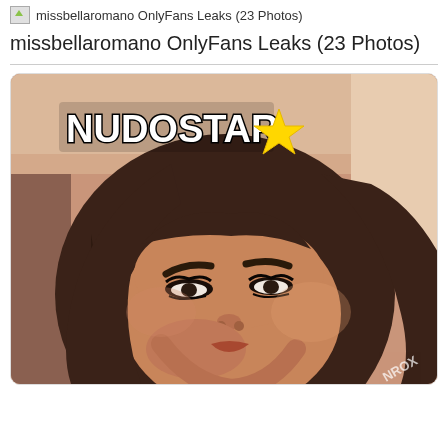missbellaromano OnlyFans Leaks (23 Photos)
missbellaromano OnlyFans Leaks (23 Photos)
[Figure (photo): A woman taking a selfie in a warm-toned room. She has long brown hair, prominent eyebrows, and long eyelashes, with her hand raised near her face. A 'NUDOSTAR' watermark with a yellow star emoji is overlaid in the upper left. A small 'NROX' watermark appears in the lower right corner.]